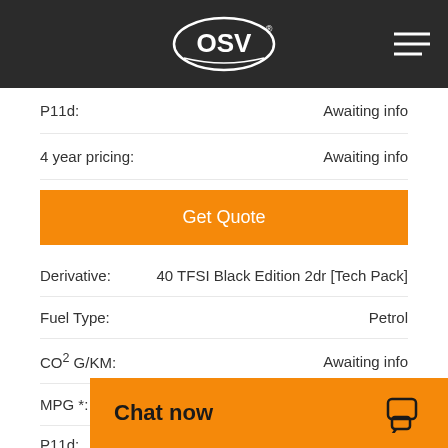OSV
P11d: Awaiting info
4 year pricing: Awaiting info
Get Quote
Derivative: 40 TFSI Black Edition 2dr [Tech Pack]
Fuel Type: Petrol
CO2 G/KM: Awaiting info
MPG *: Awaiting info
P11d:
Chat now